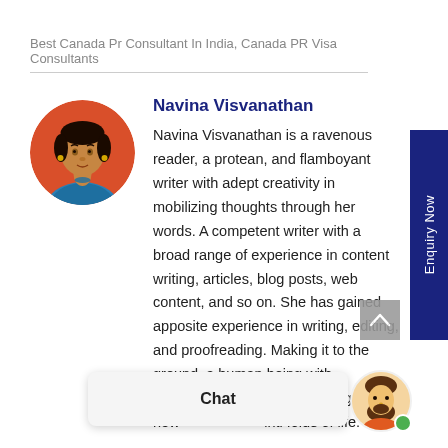Best Canada Pr Consultant In India, Canada PR Visa Consultants
[Figure (other): Enquiry Now vertical button tab on right side, dark blue background]
[Figure (photo): Circular profile photo of Navina Visvanathan, a woman in blue outfit with orange/red circular background]
Navina Visvanathan
Navina Visvanathan is a ravenous reader, a protean, and flamboyant writer with adept creativity in mobilizing thoughts through her words. A competent writer with a broad range of experience in content writing, articles, blog posts, web content, and so on. She has gained apposite experience in writing, editing, and proofreading. Making it to the ground, a human being with dynam toes plunge into new inti folds of life.
[Figure (other): Grey scroll-to-top button with upward chevron arrow]
[Figure (other): Chat overlay bar with Chat label and a bearded male avatar with green online dot]